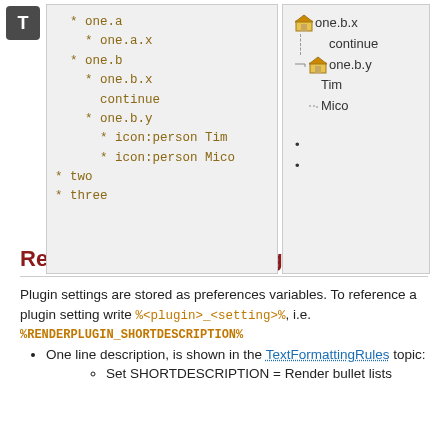[Figure (screenshot): Left panel showing a code/list block with bullet items: one.a, one.a.x, one.b, one.b.x, continue, one.b.y, icon:person Tim, icon:person Mico, two, three in monospace orange/brown text on gray background]
[Figure (screenshot): Right panel showing a tree list with house icons: one.b.x, continue, one.b.y, Tim, Mico with dashed tree lines, and bullet items partially visible]
RenderListPlugin Settings
Plugin settings are stored as preferences variables. To reference a plugin setting write %<plugin>_<setting>%, i.e.
%RENDERPLUGIN_SHORTDESCRIPTION%
One line description, is shown in the TextFormattingRules topic:
Set SHORTDESCRIPTION = Render bullet lists